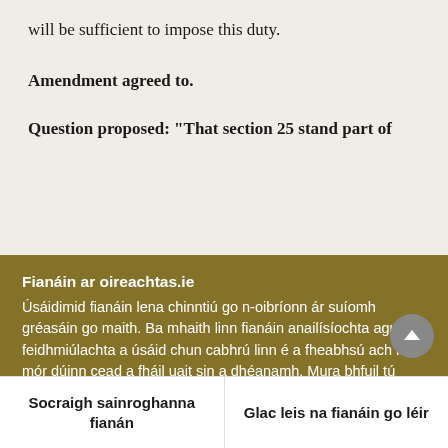will be sufficient to impose this duty.
Amendment agreed to.
Question proposed: "That section 25 stand part of
Fianáin ar oireachtas.ie
Úsáidimid fianáin lena chinntiú go n-oibríonn ár suíomh gréasáin go maith. Ba mhaith linn fianáin anailísíochta agus feidhmiúlachta a úsáid chun cabhrú linn é a fheabhsú ach ní mór dúinn cead a fháil uait sin a dhéanamh. Mura bhfuil tú sásta cead a thabhairt, ní úsáidfear ach fianáin riachtanacha. Léigh tuileadh faoinár bhfianáin
Socraigh sainroghanna fianán
Glac leis na fianáin go léir